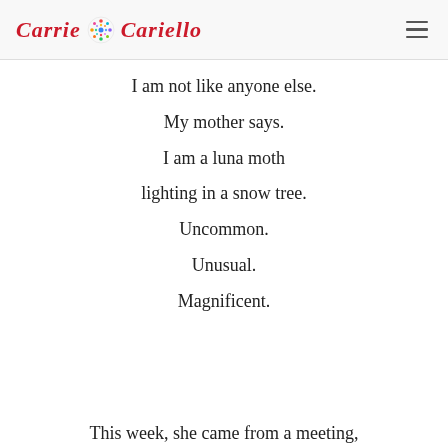Carrie Cariello
I am not like anyone else.
My mother says.
I am a luna moth
lighting in a snow tree.
Uncommon.
Unusual.
Magnificent.
This week, she came from a meeting,